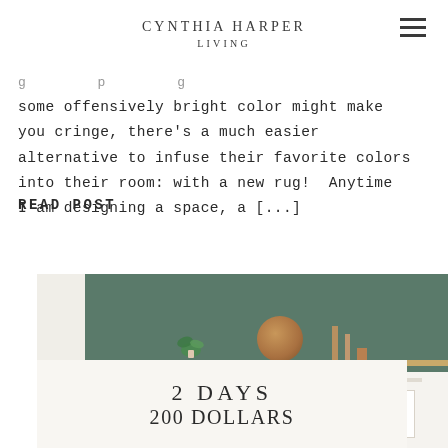CYNTHIA HARPER LIVING
some offensively bright color might make you cringe, there's a much easier alternative to infuse their favorite colors into their room: with a new rug!  Anytime I am designing a space, a [...]
READ POST
[Figure (photo): Interior decorating photo showing a green-painted accent wall with a wooden shelf holding a potted plant, a round rattan plate, and wooden candlestick holders. Below is a white dresser with drawer fronts visible.]
2 DAYS
200 DOLLARS